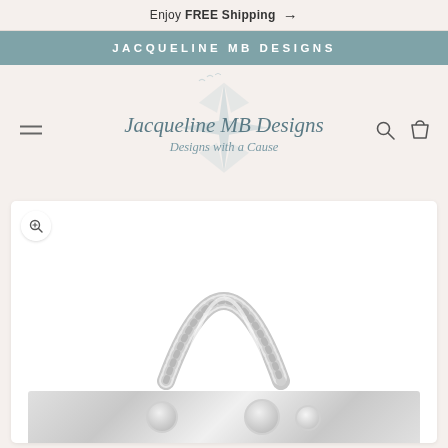Enjoy FREE Shipping →
JACQUELINE MB DESIGNS
[Figure (logo): Jacqueline MB Designs logo with compass star and birds, text 'Jacqueline MB Designs / Designs with a Cause']
[Figure (photo): Product photo showing a silver chain/rope necklace loop on white background, with additional jewelry pieces partially visible at bottom]